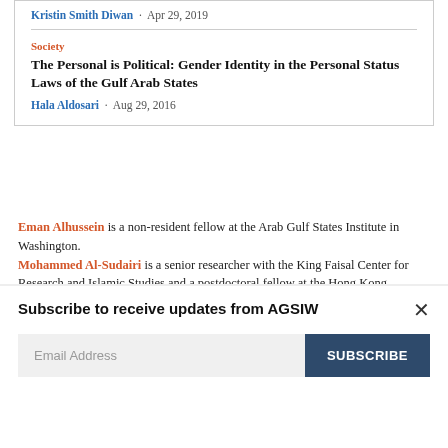Kristin Smith Diwan · Apr 29, 2019
Society
The Personal is Political: Gender Identity in the Personal Status Laws of the Gulf Arab States
Hala Aldosari · Aug 29, 2016
Eman Alhussein is a non-resident fellow at the Arab Gulf States Institute in Washington. Mohammed Al-Sudairi is a senior researcher with the King Faisal Center for Research and Islamic Studies and a postdoctoral fellow at the Hong Kong Institute for Humanities
Subscribe to receive updates from AGSIW
Email Address
SUBSCRIBE